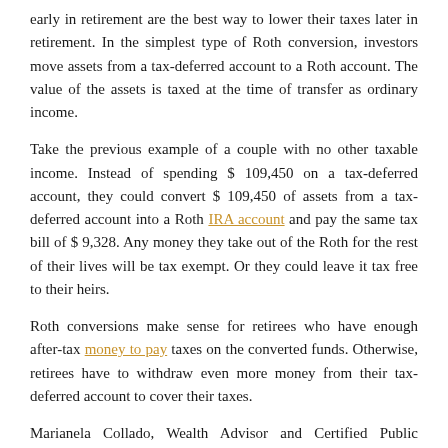early in retirement are the best way to lower their taxes later in retirement. In the simplest type of Roth conversion, investors move assets from a tax-deferred account to a Roth account. The value of the assets is taxed at the time of transfer as ordinary income.
Take the previous example of a couple with no other taxable income. Instead of spending $ 109,450 on a tax-deferred account, they could convert $ 109,450 of assets from a tax-deferred account into a Roth IRA account and pay the same tax bill of $ 9,328. Any money they take out of the Roth for the rest of their lives will be tax exempt. Or they could leave it tax free to their heirs.
Roth conversions make sense for retirees who have enough after-tax money to pay taxes on the converted funds. Otherwise, retirees have to withdraw even more money from their tax-deferred account to cover their taxes.
Marianela Collado, Wealth Advisor and Certified Public Accountant at Plantation, Florida, analyzes each client's future withholding taxes and determines when current Roth conversions make sense to avoid higher